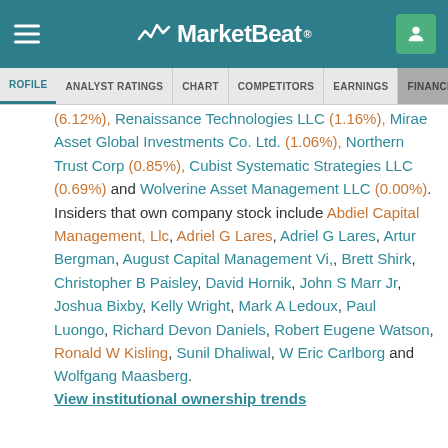MarketBeat
PROFILE | ANALYST RATINGS | CHART | COMPETITORS | EARNINGS | FINANCIALS
(6.12%), Renaissance Technologies LLC (1.16%), Mirae Asset Global Investments Co. Ltd. (1.06%), Northern Trust Corp (0.85%), Cubist Systematic Strategies LLC (0.69%) and Wolverine Asset Management LLC (0.00%). Insiders that own company stock include Abdiel Capital Management, Llc, Adriel G Lares, Adriel G Lares, Artur Bergman, August Capital Management Vi,, Brett Shirk, Christopher B Paisley, David Hornik, John S Marr Jr, Joshua Bixby, Kelly Wright, Mark A Ledoux, Paul Luongo, Richard Devon Daniels, Robert Eugene Watson, Ronald W Kisling, Sunil Dhaliwal, W Eric Carlborg and Wolfgang Maasberg.
View institutional ownership trends